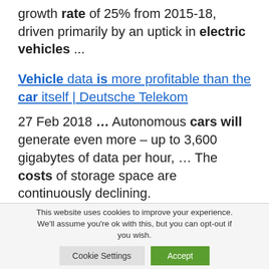growth rate of 25% from 2015-18, driven primarily by an uptick in electric vehicles ...
Vehicle data is more profitable than the car itself | Deutsche Telekom
27 Feb 2018 ... Autonomous cars will generate even more – up to 3,600 gigabytes of data per hour, ... The costs of storage space are continuously declining.
This website uses cookies to improve your experience. We'll assume you're ok with this, but you can opt-out if you wish.